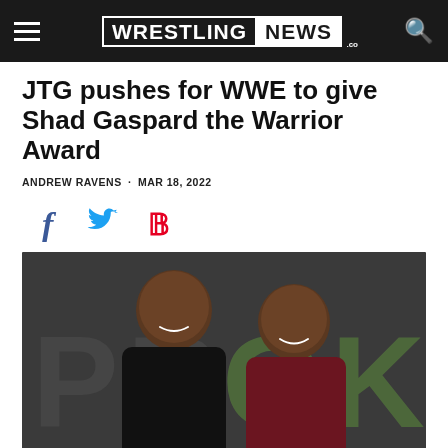WRESTLING NEWS .co
JTG pushes for WWE to give Shad Gaspard the Warrior Award
ANDREW RAVENS · MAR 18, 2022
[Figure (other): Social share icons: Facebook (f), Twitter (bird), Pinterest (P)]
[Figure (photo): Two muscular men smiling and posing together in front of a banner with partially visible text. Left man wears black t-shirt and necklace, right man wears dark red/maroon t-shirt. Bottom text partially visible: 'GE...']